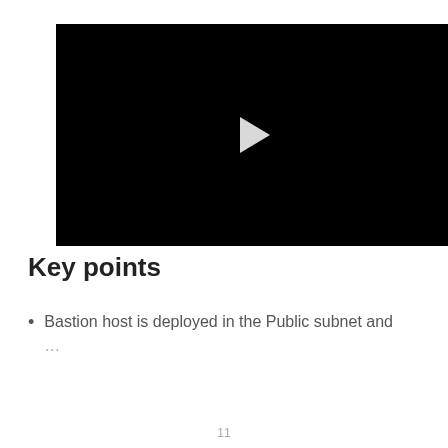[Figure (screenshot): Black video player with a white play button triangle in the center]
Key points
Bastion host is deployed in the Public subnet and …